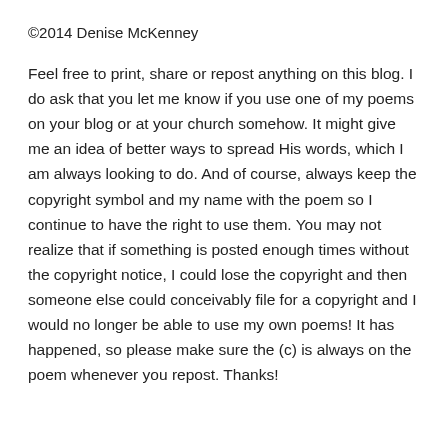©2014 Denise McKenney
Feel free to print, share or repost anything on this blog. I do ask that you let me know if you use one of my poems on your blog or at your church somehow. It might give me an idea of better ways to spread His words, which I am always looking to do. And of course, always keep the copyright symbol and my name with the poem so I continue to have the right to use them. You may not realize that if something is posted enough times without the copyright notice, I could lose the copyright and then someone else could conceivably file for a copyright and I would no longer be able to use my own poems! It has happened, so please make sure the (c) is always on the poem whenever you repost. Thanks!